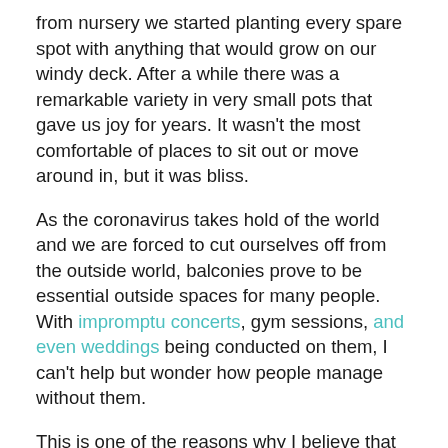from nursery we started planting every spare spot with anything that would grow on our windy deck. After a while there was a remarkable variety in very small pots that gave us joy for years. It wasn't the most comfortable of places to sit out or move around in, but it was bliss.
As the coronavirus takes hold of the world and we are forced to cut ourselves off from the outside world, balconies prove to be essential outside spaces for many people. With impromptu concerts, gym sessions, and even weddings being conducted on them, I can't help but wonder how people manage without them.
This is one of the reasons why I believe that every city worth its council tax should have informal spaces like pocket parks and resting zones where people can take a break and have some respite: They need to be breathing spaces from consumerism, from being advertised to, maybe even